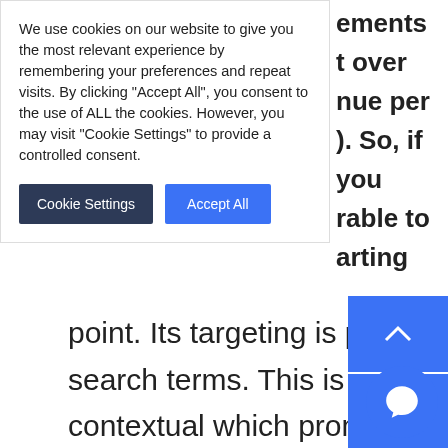We use cookies on our website to give you the most relevant experience by remembering your preferences and repeat visits. By clicking “Accept All”, you consent to the use of ALL the cookies. However, you may visit "Cookie Settings" to provide a controlled consent.
point. Its targeting is performed through the keyword search terms. This is very helpful to contribute highly contextual ads which prompt to earn a large amount of click-through rate.